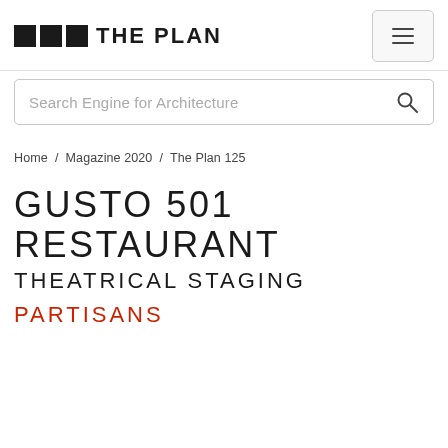THE PLAN
Search Engine for Architecture
Home / Magazine 2020 / The Plan 125
GUSTO 501 RESTAURANT THEATRICAL STAGING
PARTISANS